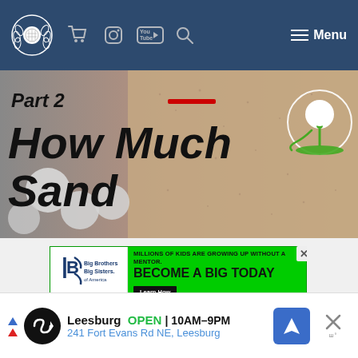Navigation bar with logo, shopping cart, Instagram, YouTube, search icons, and Menu button
[Figure (screenshot): Hero banner image showing 'Part 2 How Much Sand' title text over golf balls and sandy texture background with golf logo on right]
[Figure (screenshot): Big Brothers Big Sisters advertisement banner on green background: 'MILLIONS OF KIDS ARE GROWING UP WITHOUT A MENTOR. BECOME A BIG TODAY' with Learn How button]
[Figure (screenshot): Bottom local ad: Leesburg location, OPEN 10AM-9PM, 241 Fort Evans Rd NE, Leesburg with navigation icon and close button]